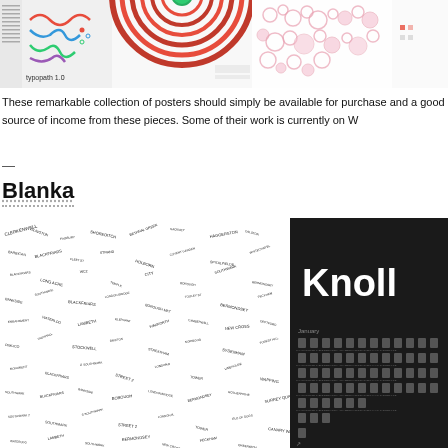[Figure (illustration): Top row of four poster thumbnails: typopath 1.0 colorful paths on white, red concentric circles target poster, pink bubble clusters visualization, and a fourth partially visible poster]
These remarkable collection of posters should simply be available for purchase and a good source of income from these pieces. Some of their work is currently on W
—
Blanka
[Figure (illustration): Left: black and white typographic map of London streets. Right: Knoll brand poster with large white 'Knoll' text on black background and a calendar grid of furniture silhouettes below.]